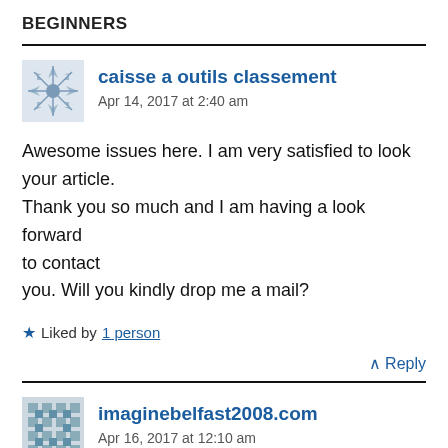BEGINNERS
caisse a outils classement
Apr 14, 2017 at 2:40 am
Awesome issues here. I am very satisfied to look your article.
Thank you so much and I am having a look forward to contact
you. Will you kindly drop me a mail?
Liked by 1 person
Reply
imaginebelfast2008.com
Apr 16, 2017 at 12:10 am